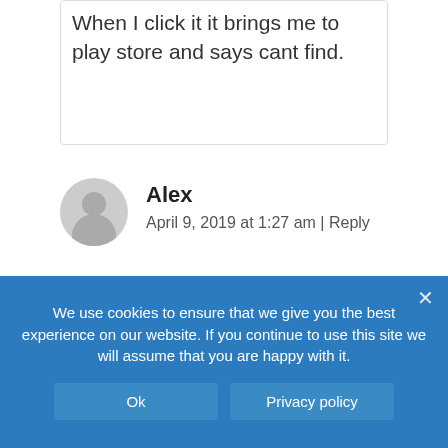When I click it it brings me to play store and says cant find.
Alex
April 9, 2019 at 1:27 am | Reply
It’s just stays downloading and it never can be opened
We use cookies to ensure that we give you the best experience on our website. If you continue to use this site we will assume that you are happy with it.
Ok
Privacy policy